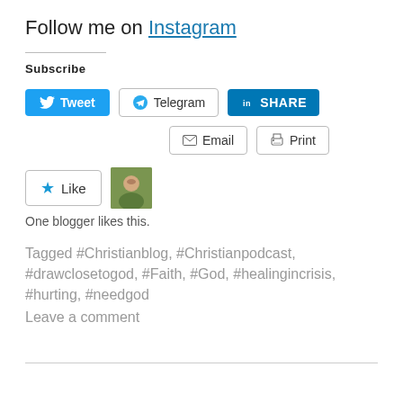Follow me on Instagram
Subscribe
[Figure (screenshot): Social sharing buttons: Tweet (Twitter/blue), Telegram, LinkedIn SHARE, Email, Print]
[Figure (screenshot): Like button with star icon and a blogger avatar thumbnail. Text: One blogger likes this.]
Tagged #Christianblog, #Christianpodcast, #drawclosetogod, #Faith, #God, #healingincrisis, #hurting, #needgod
Leave a comment